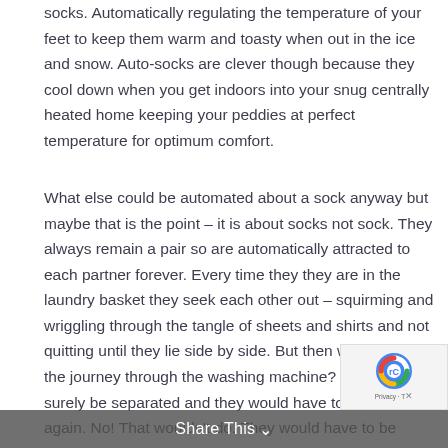socks. Automatically regulating the temperature of your feet to keep them warm and toasty when out in the ice and snow. Auto-socks are clever though because they cool down when you get indoors into your snug centrally heated home keeping your peddies at perfect temperature for optimum comfort.
What else could be automated about a sock anyway but maybe that is the point – it is about socks not sock. They always remain a pair so are automatically attracted to each partner forever. Every time they they are in the laundry basket they seek each other out – squirming and wriggling through the tangle of sheets and shirts and not quitting until they lie side by side. But then what about the journey through the washing machine? They would surely be separated and they would have to do it all again. No! That wouldn't do. They would have to be programmed into seeking each other out only when t are actually clean. They p to each other
Share This